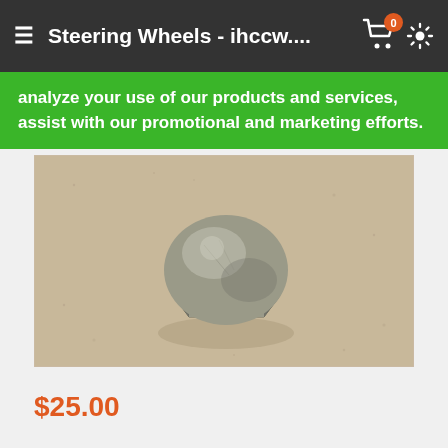Steering Wheels - ihccw....
analyze your use of our products and services, assist with our promotional and marketing efforts.
[Figure (photo): Close-up photo of a silver/metallic acorn cap nut (dome hex nut) resting on a tan/beige surface. The nut has a hexagonal base with a rounded domed top.]
$25.00